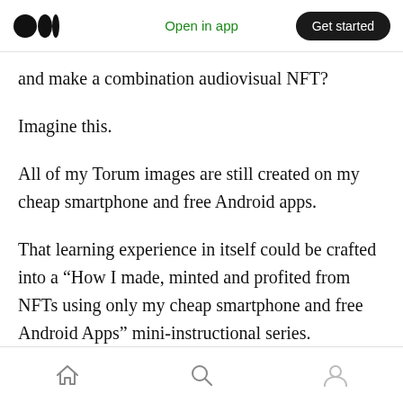Open in app | Get started
and make a combination audiovisual NFT?
Imagine this.
All of my Torum images are still created on my cheap smartphone and free Android apps.
That learning experience in itself could be crafted into a “How I made, minted and profited from NFTs using only my cheap smartphone and free Android Apps” mini-instructional series.
What I’m trying to say is that I’m sure that all you need is to allow yourself to breathe and enjo…
Home | Search | Profile